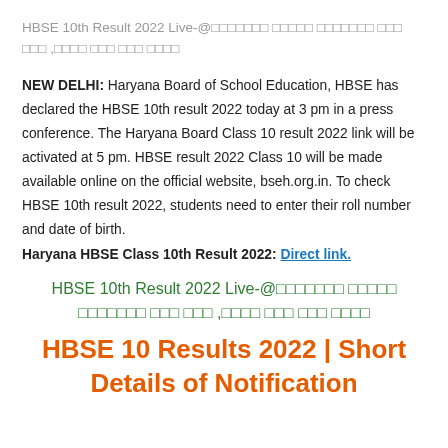HBSE 10th Result 2022 Live-@                              ,                 
NEW DELHI: Haryana Board of School Education, HBSE has declared the HBSE 10th result 2022 today at 3 pm in a press conference. The Haryana Board Class 10 result 2022 link will be activated at 5 pm. HBSE result 2022 Class 10 will be made available online on the official website, bseh.org.in. To check HBSE 10th result 2022, students need to enter their roll number and date of birth.
Haryana HBSE Class 10th Result 2022: Direct link.
HBSE 10th Result 2022 Live-@                               ,                 
HBSE 10 Results 2022 | Short Details of Notification